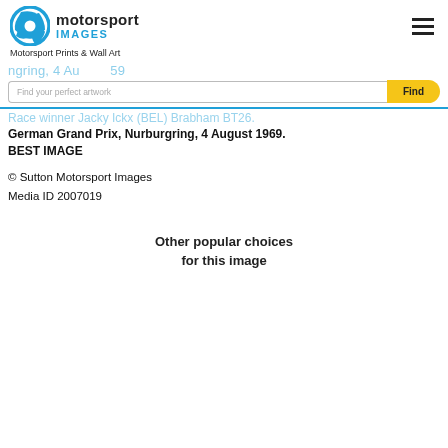motorsport IMAGES
Motorsport Prints & Wall Art
Find your perfect artwork
Race winner Jacky Ickx (BEL) Brabham BT26. German Grand Prix, Nurburgring, 4 August 1969. BEST IMAGE
© Sutton Motorsport Images
Media ID 2007019
Other popular choices for this image